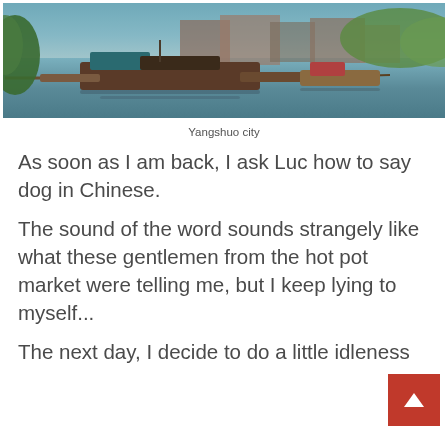[Figure (photo): Photograph of Yangshuo city waterway with traditional wooden boats moored along a river, with colorful buildings and green vegetation in the background. HDR-style photograph with vivid colors.]
Yangshuo city
As soon as I am back, I ask Luc how to say dog in Chinese.
The sound of the word sounds strangely like what these gentlemen from the hot pot market were telling me, but I keep lying to myself...
The next day, I decide to do a little idleness